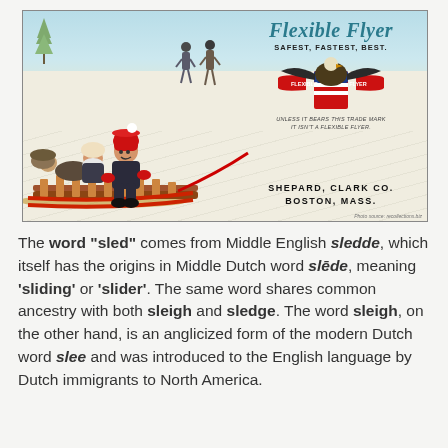[Figure (illustration): Vintage Flexible Flyer sled advertisement showing children sledding down a snowy hill. Text reads: 'Flexible Flyer - SAFEST, FASTEST, BEST.' with eagle logo, 'UNLESS IT BEARS THIS TRADE MARK IT ISN'T A FLEXIBLE FLYER.' and 'SHEPARD, CLARK CO. BOSTON, MASS.' Photo source: recollections.biz]
The word "sled" comes from Middle English sledde, which itself has the origins in Middle Dutch word slēde, meaning 'sliding' or 'slider'. The same word shares common ancestry with both sleigh and sledge. The word sleigh, on the other hand, is an anglicized form of the modern Dutch word slee and was introduced to the English language by Dutch immigrants to North America.